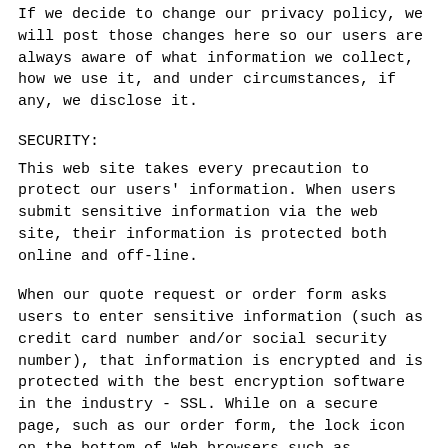If we decide to change our privacy policy, we will post those changes here so our users are always aware of what information we collect, how we use it, and under circumstances, if any, we disclose it.
SECURITY:
This web site takes every precaution to protect our users' information. When users submit sensitive information via the web site, their information is protected both online and off-line.
When our quote request or order form asks users to enter sensitive information (such as credit card number and/or social security number), that information is encrypted and is protected with the best encryption software in the industry - SSL. While on a secure page, such as our order form, the lock icon on the bottom of Web browsers such as Netscape Navigator and Microsoft Internet Explorer becomes locked, as opposed to unlocked,